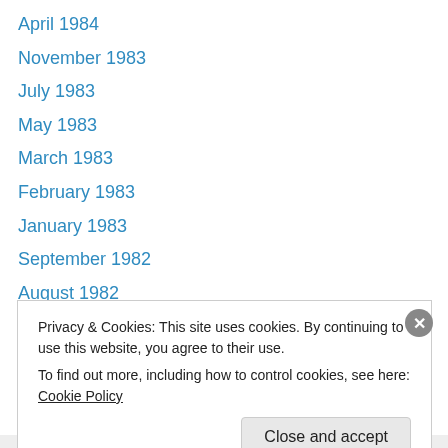April 1984
November 1983
July 1983
May 1983
March 1983
February 1983
January 1983
September 1982
August 1982
July 1982
June 1982
April 1982
February 1982
Privacy & Cookies: This site uses cookies. By continuing to use this website, you agree to their use.
To find out more, including how to control cookies, see here: Cookie Policy
Close and accept